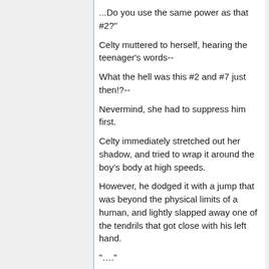...Do you use the same power as that #2?"
Celty muttered to herself, hearing the teenager's words--
What the hell was this #2 and #7 just then!?--
Nevermind, she had to suppress him first.
Celty immediately stretched out her shadow, and tried to wrap it around the boy’s body at high speeds.
However, he dodged it with a jump that was beyond the physical limits of a human, and lightly slapped away one of the tendrils that got close with his left hand.
"...."
In an instant, the front end of Celty's